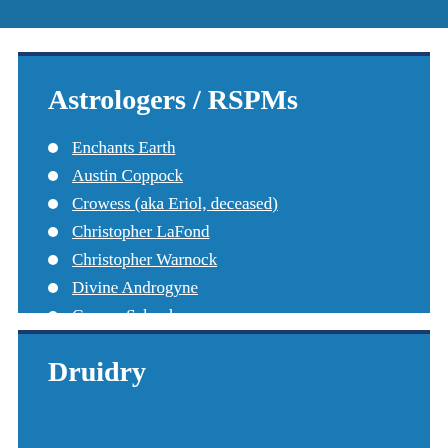Astrologers / RSPMs
Enchants Earth
Austin Coppock
Crowess (aka Eriol, deceased)
Christopher LaFond
Christopher Warnock
Divine Androgyne
Gnome School
Druidry